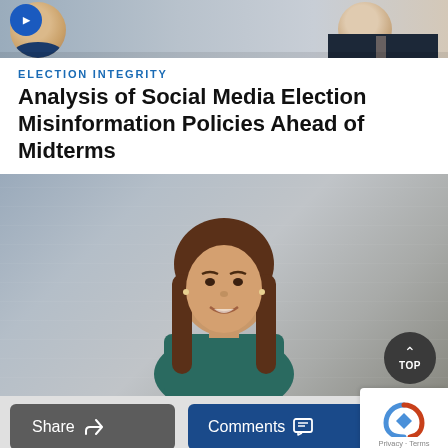[Figure (photo): Two people at top, partial view - person on left with partial circular face, person on right in suit with tie against grey background]
ELECTION INTEGRITY
Analysis of Social Media Election Misinformation Policies Ahead of Midterms
[Figure (photo): Portrait photo of a smiling woman with long brown hair wearing a teal/dark green top, against a grey background]
Share
Comments
[Figure (other): reCAPTCHA logo with Privacy - Terms text]